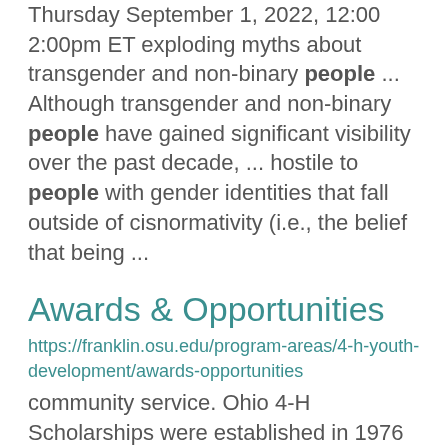Thursday September 1, 2022, 12:00 2:00pm ET exploding myths about transgender and non-binary people ... Although transgender and non-binary people have gained significant visibility over the past decade, ... hostile to people with gender identities that fall outside of cisnormativity (i.e., the belief that being ...
Awards & Opportunities
https://franklin.osu.edu/program-areas/4-h-youth-development/awards-opportunities
community service. Ohio 4-H Scholarships were established in 1976 in order to help young people become ...